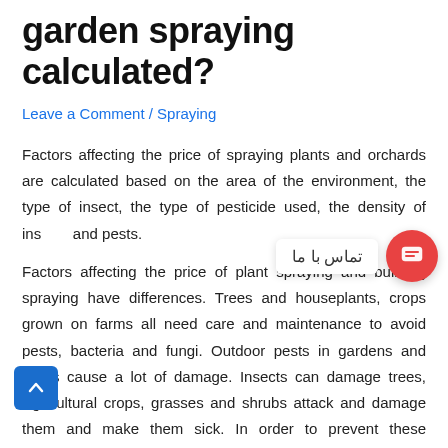garden spraying calculated?
Leave a Comment / Spraying
Factors affecting the price of spraying plants and orchards are calculated based on the area of the environment, the type of insect, the type of pesticide used, the density of insects and pests.
Factors affecting the price of plant spraying and building spraying have differences. Trees and houseplants, crops grown on farms all need care and maintenance to avoid pests, bacteria and fungi. Outdoor pests in gardens and farms cause a lot of damage. Insects can damage trees, Agricultural crops, grasses and shrubs attack and damage them and make them sick. In order to prevent these problems, it is better to carry out spraying operations periodically and regularly. In this article, we want to acquaint you with the factors affecting the price of spraying your plants and gardens, stay tuned